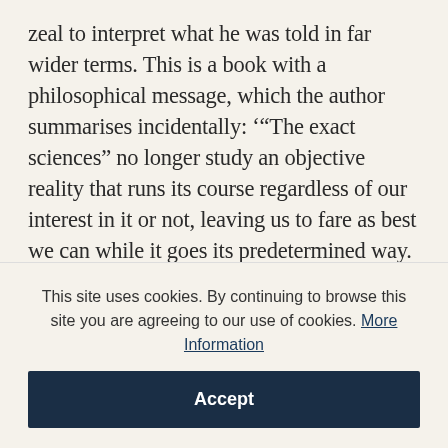zeal to interpret what he was told in far wider terms. This is a book with a philosophical message, which the author summarises incidentally: '“The exact sciences” no longer study an objective reality that runs its course regardless of our interest in it or not, leaving us to fare as best we can while it goes its predetermined way. Science, at the level of subatomic events, is no longer exact, the distinction between objective and subjective has vanished, and the portals through which the Universe manifests itself are, as
This site uses cookies. By continuing to browse this site you are agreeing to our use of cookies. More Information
Accept